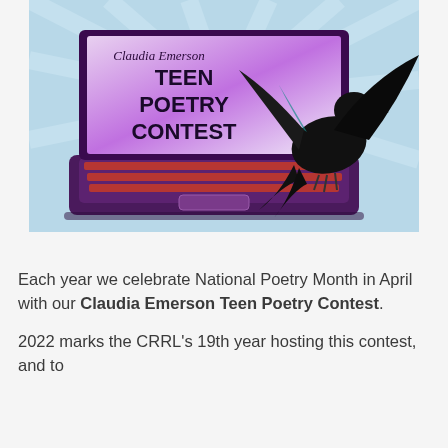[Figure (illustration): Illustration of a purple/dark laptop with a glowing screen displaying 'Claudia Emerson TEEN POETRY CONTEST' in bold text on a purple-to-white gradient background, with a black crow/raven perched on the right side of the keyboard. The background has light blue radiating rays.]
Each year we celebrate National Poetry Month in April with our Claudia Emerson Teen Poetry Contest.
2022 marks the CRRL's 19th year hosting this contest, and to